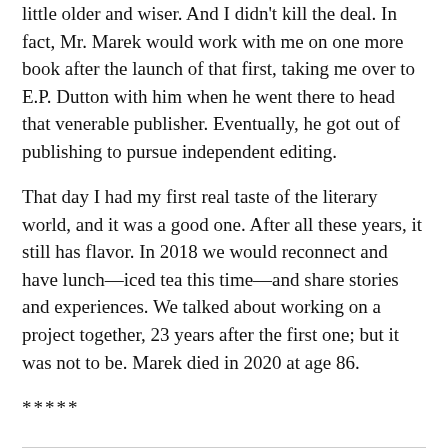little older and wiser. And I didn't kill the deal. In fact, Mr. Marek would work with me on one more book after the launch of that first, taking me over to E.P. Dutton with him when he went there to head that venerable publisher. Eventually, he got out of publishing to pursue independent editing.
That day I had my first real taste of the literary world, and it was a good one. After all these years, it still has flavor. In 2018 we would reconnect and have lunch—iced tea this time—and share stories and experiences. We talked about working on a project together, 23 years after the first one; but it was not to be. Marek died in 2020 at age 86.
*****
Note: For more on Mr. Marek: https://www.nytimes.com/2020/03/25/books/richard-marek-dies.html